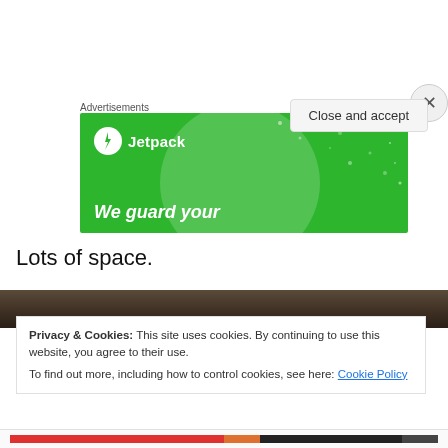Advertisements
[Figure (illustration): Jetpack advertisement banner with green background, Jetpack logo (lightning bolt icon) and text 'We guard your', with decorative circle and dots pattern]
Lots of space.
[Figure (photo): Dark brown wooden surface photo strip]
Privacy & Cookies: This site uses cookies. By continuing to use this website, you agree to their use.
To find out more, including how to control cookies, see here: Cookie Policy
Close and accept